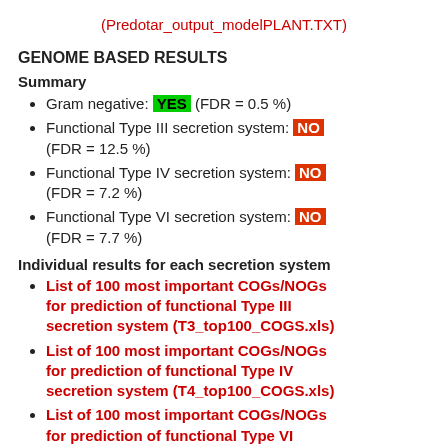(Predotar_output_modelPLANT.TXT)
GENOME BASED RESULTS
Summary
Gram negative: YES (FDR = 0.5 %)
Functional Type III secretion system: NO (FDR = 12.5 %)
Functional Type IV secretion system: NO (FDR = 7.2 %)
Functional Type VI secretion system: NO (FDR = 7.7 %)
Individual results for each secretion system
List of 100 most important COGs/NOGs for prediction of functional Type III secretion system (T3_top100_COGS.xls)
List of 100 most important COGs/NOGs for prediction of functional Type IV secretion system (T4_top100_COGS.xls)
List of 100 most important COGs/NOGs for prediction of functional Type VI secretion system (T6_top100_COGS.xls)